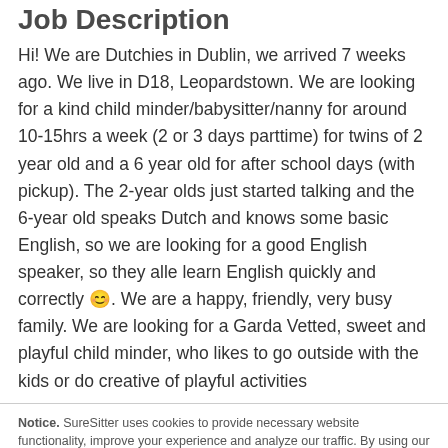Job Description
Hi! We are Dutchies in Dublin, we arrived 7 weeks ago. We live in D18, Leopardstown. We are looking for a kind child minder/babysitter/nanny for around 10-15hrs a week (2 or 3 days parttime) for twins of 2 year old and a 6 year old for after school days (with pickup). The 2-year olds just started talking and the 6-year old speaks Dutch and knows some basic English, so we are looking for a good English speaker, so they alle learn English quickly and correctly 🙂. We are a happy, friendly, very busy family. We are looking for a Garda Vetted, sweet and playful child minder, who likes to go outside with the kids or do creative of playful activities
Notice. SureSitter uses cookies to provide necessary website functionality, improve your experience and analyze our traffic. By using our website, you agree to our Privacy Policy
Ok